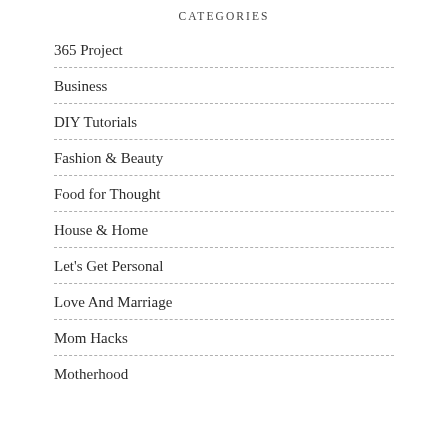CATEGORIES
365 Project
Business
DIY Tutorials
Fashion & Beauty
Food for Thought
House & Home
Let's Get Personal
Love And Marriage
Mom Hacks
Motherhood